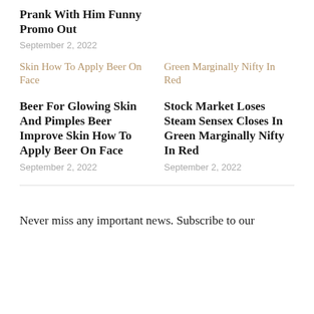Prank With Him Funny Promo Out
September 2, 2022
Skin How To Apply Beer On Face
Green Marginally Nifty In Red
Beer For Glowing Skin And Pimples Beer Improve Skin How To Apply Beer On Face
September 2, 2022
Stock Market Loses Steam Sensex Closes In Green Marginally Nifty In Red
September 2, 2022
Never miss any important news. Subscribe to our